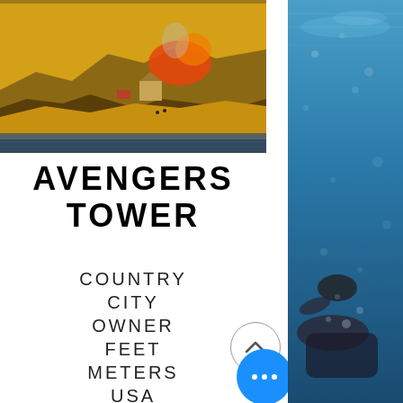[Figure (illustration): A historical painting or illustration showing a landscape with cliffs, buildings, fire/smoke, and water in the foreground with warm yellow and orange tones.]
AVENGERS TOWER
COUNTRY
CITY
OWNER
FEET
METERS
USA
NEW YORK
[Figure (photo): A photo of a swimmer underwater, viewed from below, with blue water and bubbles. Only partially visible on the right side of the page.]